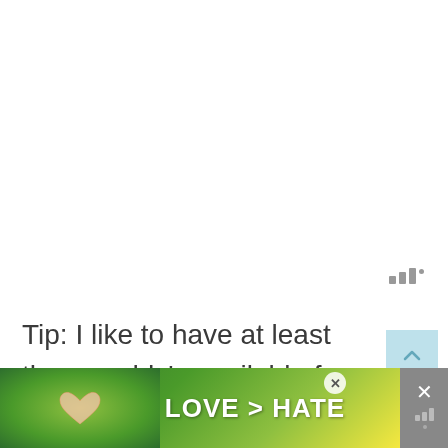[Figure (other): Small icon with three vertical bars of increasing height and a small dot, rendered in gray, appearing as a signal/audio indicator symbol in the upper right area.]
Tip: I like to have at least three caddy's available for us to use. I then add the products they each need individually
[Figure (photo): Advertisement banner at the bottom of the page showing hands forming a heart shape against a green outdoor background, with bold white text reading 'LOVE > HATE'. A small close (X) button is visible, and a gray panel on the right side shows an X and a bar/signal icon.]